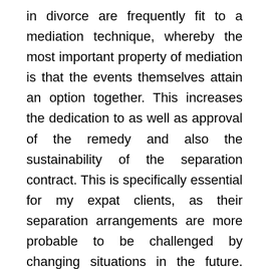in divorce are frequently fit to a mediation technique, whereby the most important property of mediation is that the events themselves attain an option together. This increases the dedication to as well as approval of the remedy and also the sustainability of the separation contract. This is specifically essential for my expat clients, as their separation arrangements are more probable to be challenged by changing situations in the future. Often, mediation is not an alternative. As an example, when the difference in abilities as well as understanding in between the partners is as well excellent, threatening to produce a disadvantage, an attorney-directed